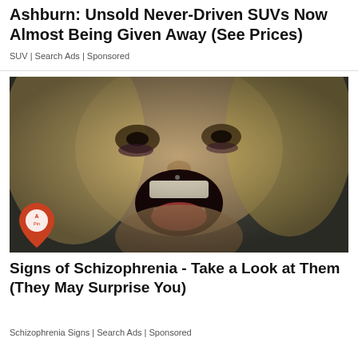Ashburn: Unsold Never-Driven SUVs Now Almost Being Given Away (See Prices)
SUV | Search Ads | Sponsored
[Figure (photo): Close-up photo of a woman with blonde hair screaming with mouth wide open, appearing distressed. An orange map pin icon with text 'A Pin' overlays the lower left corner of the image.]
Signs of Schizophrenia - Take a Look at Them (They May Surprise You)
Schizophrenia Signs | Search Ads | Sponsored